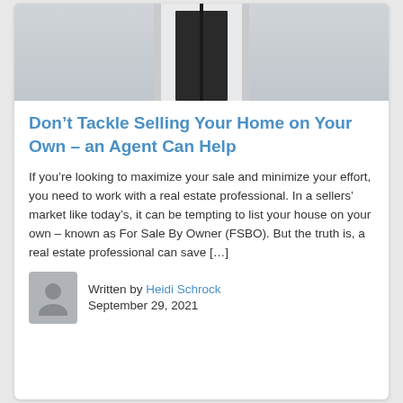[Figure (photo): Photo of a white door frame with a dark/black open door, showing stone steps and entryway]
Don’t Tackle Selling Your Home on Your Own – an Agent Can Help
If you’re looking to maximize your sale and minimize your effort, you need to work with a real estate professional. In a sellers’ market like today’s, it can be tempting to list your house on your own – known as For Sale By Owner (FSBO). But the truth is, a real estate professional can save […]
Written by Heidi Schrock
September 29, 2021